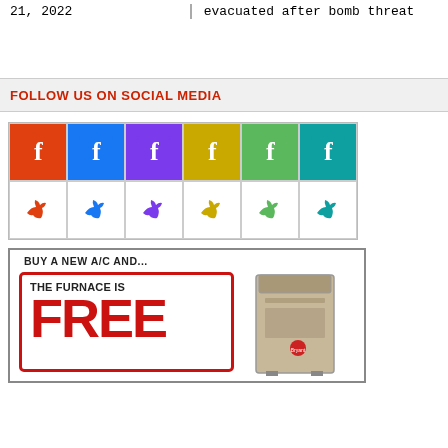21, 2022
evacuated after bomb threat
FOLLOW US ON SOCIAL MEDIA
[Figure (illustration): Grid of 6 Facebook icons and 6 Twitter icons in various colors (orange-red, blue, purple, yellow, green, teal)]
[Figure (illustration): Advertisement: BUY A NEW A/C AND... THE FURNACE IS FREE, with image of a furnace unit (Bryant brand)]